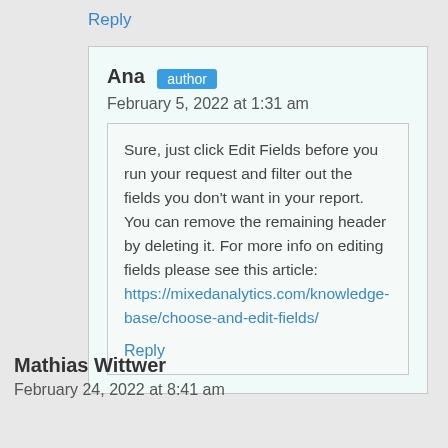Reply
Ana  author
February 5, 2022 at 1:31 am
Sure, just click Edit Fields before you run your request and filter out the fields you don't want in your report. You can remove the remaining header by deleting it. For more info on editing fields please see this article: https://mixedanalytics.com/knowledge-base/choose-and-edit-fields/
Reply
Mathias Wittwer
February 24, 2022 at 8:41 am